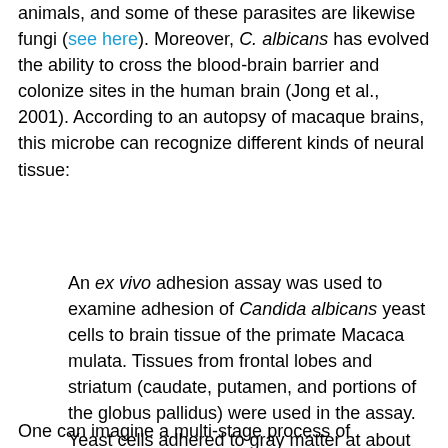animals, and some of these parasites are likewise fungi (see here). Moreover, C. albicans has evolved the ability to cross the blood-brain barrier and colonize sites in the human brain (Jong et al., 2001). According to an autopsy of macaque brains, this microbe can recognize different kinds of neural tissue:
An ex vivo adhesion assay was used to examine adhesion of Candida albicans yeast cells to brain tissue of the primate Macaca mulata. Tissues from frontal lobes and striatum (caudate, putamen, and portions of the globus pallidus) were used in the assay. Yeast cells adhered to gray matter at about six times the level of adhesion to white matter. The fungus was able to bind to different cell types within the cortex, basal ganglia, and white matter. (Denaro et al., 1995)
One can imagine a multi-stage process of development: